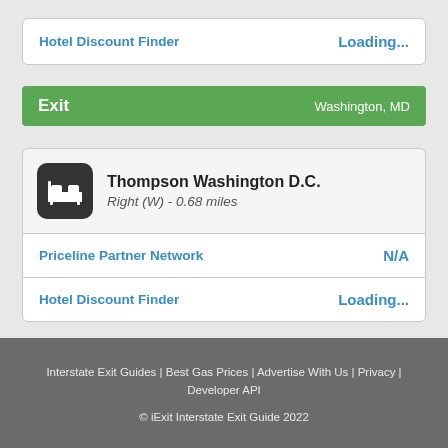Hotel Discount Finder   Loading...
Exit   Washington, MD
Thompson Washington D.C.
Right (W) - 0.68 miles
Priceline Partner Network   N/A
Hotel Discount Finder   Loading...
Interstate Exit Guides | Best Gas Prices | Advertise With Us | Privacy | Developer API
© iExit Interstate Exit Guide 2022